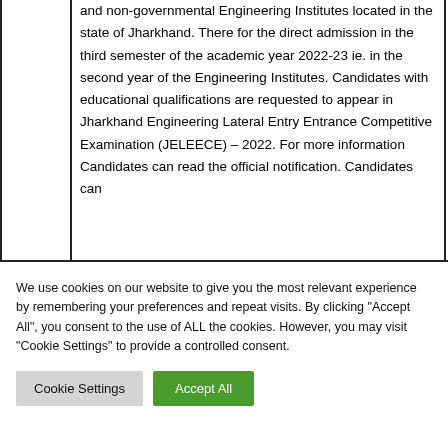and non-governmental Engineering Institutes located in the state of Jharkhand. There for the direct admission in the third semester of the academic year 2022-23 ie. in the second year of the Engineering Institutes. Candidates with educational qualifications are requested to appear in Jharkhand Engineering Lateral Entry Entrance Competitive Examination (JELEECE) – 2022. For more information Candidates can read the official notification. Candidates can
We use cookies on our website to give you the most relevant experience by remembering your preferences and repeat visits. By clicking "Accept All", you consent to the use of ALL the cookies. However, you may visit "Cookie Settings" to provide a controlled consent.